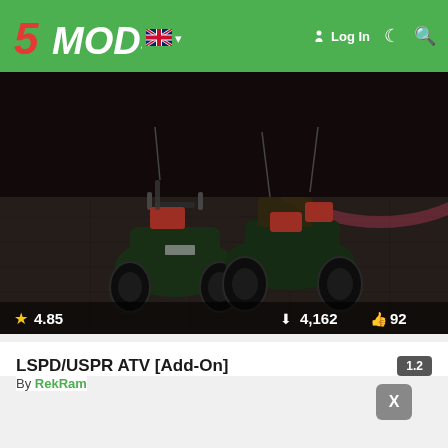5MODS — Log In
[Figure (screenshot): Dark screenshot of GTA V showing two military/police ATV quad bikes loaded with gear on a sidewalk at night, with rating 4.85, 4,162 downloads, 92 likes overlay]
LSPD/USPR ATV [Add-On]
By RekRam
X